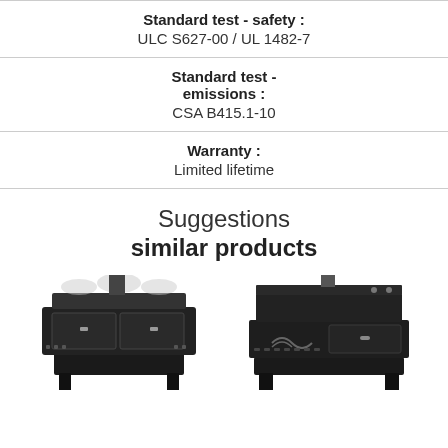Standard test - safety : ULC S627-00 / UL 1482-7
Standard test - emissions : CSA B415.1-10
Warranty : Limited lifetime
Suggestions similar products
[Figure (photo): Two black wood stoves shown as similar product suggestions at the bottom of the page.]